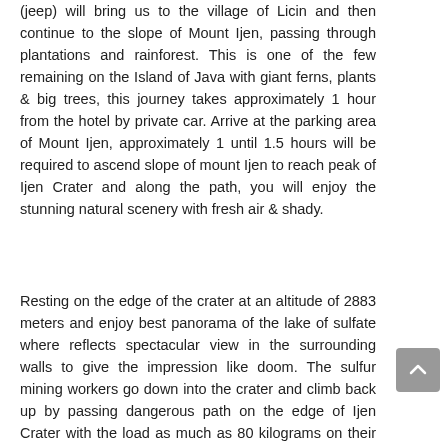(jeep) will bring us to the village of Licin and then continue to the slope of Mount Ijen, passing through plantations and rainforest. This is one of the few remaining on the Island of Java with giant ferns, plants & big trees, this journey takes approximately 1 hour from the hotel by private car. Arrive at the parking area of Mount Ijen, approximately 1 until 1.5 hours will be required to ascend slope of mount Ijen to reach peak of Ijen Crater and along the path, you will enjoy the stunning natural scenery with fresh air & shady.
Resting on the edge of the crater at an altitude of 2883 meters and enjoy best panorama of the lake of sulfate where reflects spectacular view in the surrounding walls to give the impression like doom. The sulfur mining workers go down into the crater and climb back up by passing dangerous path on the edge of Ijen Crater with the load as much as 80 kilograms on their shoulders.  This is really a dangerous & hard job. Here also, you will enjoy the beautiful scenery in the crater of Ijen as one of God's amazing creation. Do not forget to